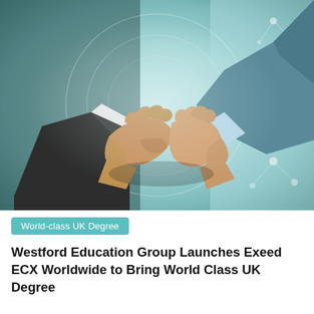[Figure (photo): Two people in business attire shaking hands against a light teal/blue background with circular network/technology graphic overlay elements]
World-class UK Degree
Westford Education Group Launches Exeed ECX Worldwide to Bring World Class UK Degree